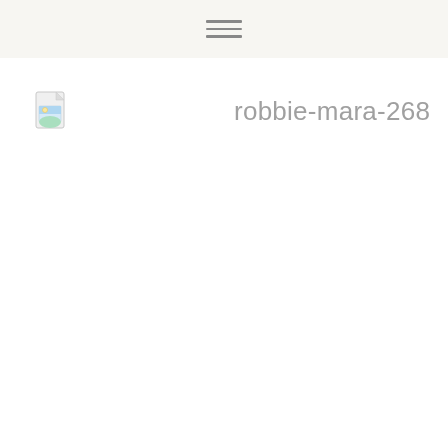[Figure (screenshot): A file manager or web UI showing a single file entry named 'robbie-mara-268' with a small image file icon to its left, on a mostly white background with a light beige top navigation bar containing a hamburger menu icon.]